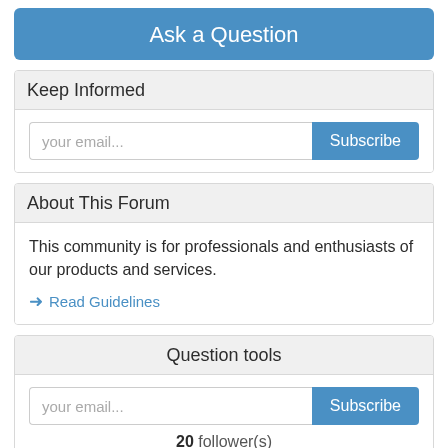Ask a Question
Keep Informed
your email...
Subscribe
About This Forum
This community is for professionals and enthusiasts of our products and services.
→ Read Guidelines
Question tools
your email...
Subscribe
20 follower(s)